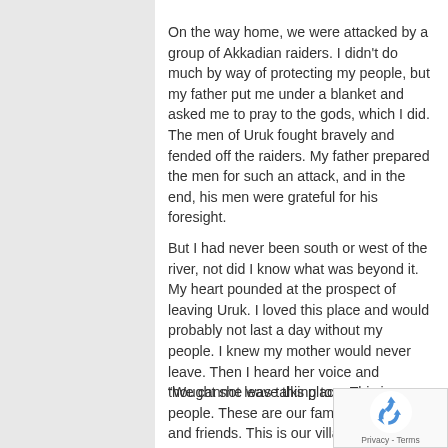On the way home, we were attacked by a group of Akkadian raiders.  I didn't do much by way of protecting my people, but my father put me under a blanket and asked me to pray to the gods, which I did.  The men of Uruk fought bravely and fended off the raiders.  My father prepared the men for such an attack, and in the end, his men were grateful for his foresight.
But I had never been south or west of the river, not did I know what was beyond it.  My heart pounded at the prospect of leaving Uruk.  I loved this place and would probably not last a day without my people.  I knew my mother would never leave.  Then I heard her voice and thought she was talking to me.
“We cannot leave this place.  This is our people.  These are our family members and friends.  This is our village.” She said boldly but quiet enough that she clearly didn’t want anyone to hear.  The conversation was being
[Figure (logo): Google reCAPTCHA badge with recycling-arrow logo icon and 'Privacy - Terms' text]